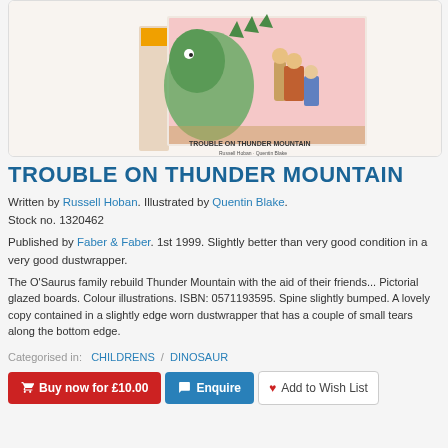[Figure (photo): A photograph of a children's book 'Trouble on Thunder Mountain', showing the cover with colourful illustration of children and a dinosaur-like creature, displayed at an angle.]
TROUBLE ON THUNDER MOUNTAIN
Written by Russell Hoban. Illustrated by Quentin Blake. Stock no. 1320462
Published by Faber & Faber. 1st 1999. Slightly better than very good condition in a very good dustwrapper.
The O'Saurus family rebuild Thunder Mountain with the aid of their friends... Pictorial glazed boards. Colour illustrations. ISBN: 0571193595. Spine slightly bumped. A lovely copy contained in a slightly edge worn dustwrapper that has a couple of small tears along the bottom edge.
Categorised in:   CHILDRENS  /  DINOSAUR
Buy now for £10.00  |  Enquire  |  Add to Wish List